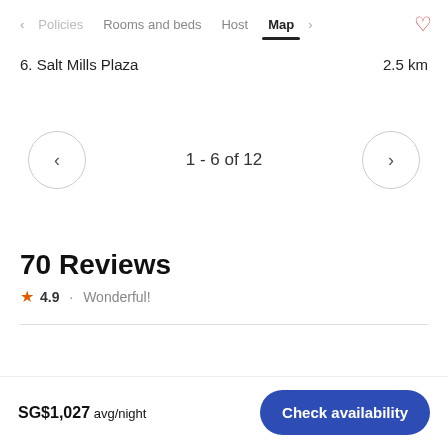< Policies   Rooms and beds   Host   Map   >   ♡
6. Salt Mills Plaza   2.5 km
1 - 6 of 12
70 Reviews
★ 4.9 · Wonderful!
SG$1,027 avg/night
Check availability